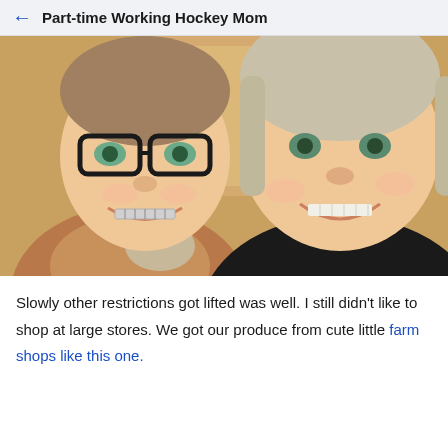← Part-time Working Hockey Mom
[Figure (photo): Selfie photo of two people smiling closely together — on the left a younger person with glasses and braces wearing a tan/brown hoodie jacket, on the right an adult woman with gray-blonde hair wearing a black top. Background appears to be a warm wood-toned interior.]
Slowly other restrictions got lifted was well. I still didn't like to shop at large stores. We got our produce from cute little farm shops like this one.